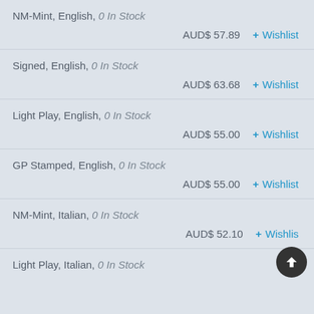NM-Mint, English, 0 In Stock — AUD$ 57.89 + Wishlist
Signed, English, 0 In Stock — AUD$ 63.68 + Wishlist
Light Play, English, 0 In Stock — AUD$ 55.00 + Wishlist
GP Stamped, English, 0 In Stock — AUD$ 55.00 + Wishlist
NM-Mint, Italian, 0 In Stock — AUD$ 52.10 + Wishlist
Light Play, Italian, 0 In Stock